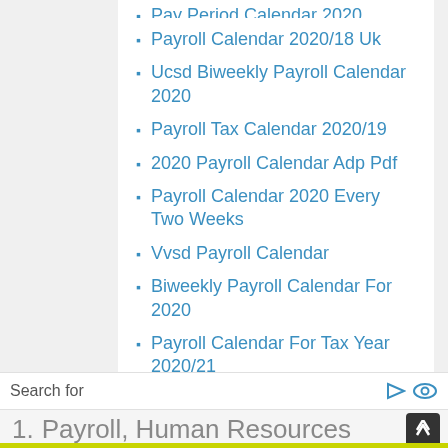Pay Period Calendar 2020 Template
Payroll Calendar 2020/18 Uk
Ucsd Biweekly Payroll Calendar 2020
Payroll Tax Calendar 2020/19
2020 Payroll Calendar Adp Pdf
Payroll Calendar 2020 Every Two Weeks
Vvsd Payroll Calendar
Biweekly Payroll Calendar For 2020
Payroll Calendar For Tax Year 2020/21
Payroll Calendar Nj
Ucsb Biweekly Payroll Calendar 2020
Search for
1.  Payroll, Human Resources